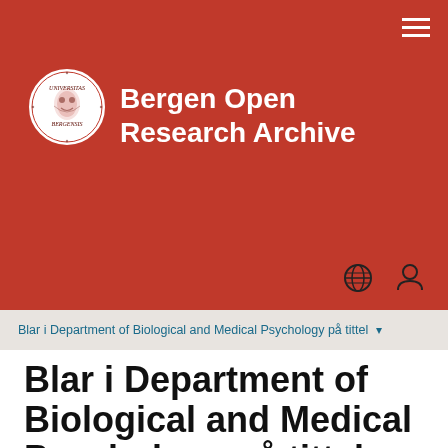[Figure (logo): Bergen Open Research Archive header with university seal logo and white bold title text on red background]
Bergen Open Research Archive
Blar i Department of Biological and Medical Psychology på tittel ▾
Blar i Department of Biological and Medical Psychology på tittel
0-9
Eller skriv inn de første bo
Søk
Viser treff 1-20 av 339